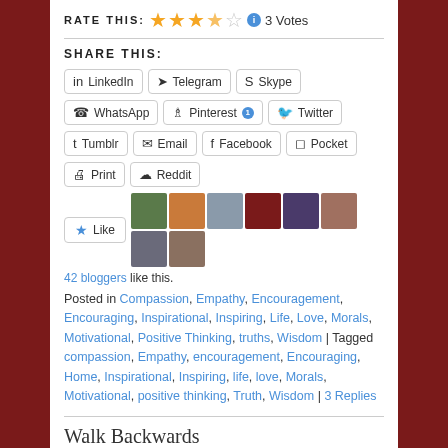RATE THIS: ★★★★☆ ℹ 3 Votes
SHARE THIS:
LinkedIn, Telegram, Skype, WhatsApp, Pinterest 1, Twitter, Tumblr, Email, Facebook, Pocket, Print, Reddit
42 bloggers like this.
Posted in Compassion, Empathy, Encouragement, Encouraging, Inspirational, Inspiring, Life, Love, Morals, Motivational, Positive Thinking, truths, Wisdom | Tagged compassion, Empathy, encouragement, Encouraging, Home, Inspirational, Inspiring, life, love, Morals, Motivational, positive thinking, Truth, Wisdom | 3 Replies
Walk Backwards